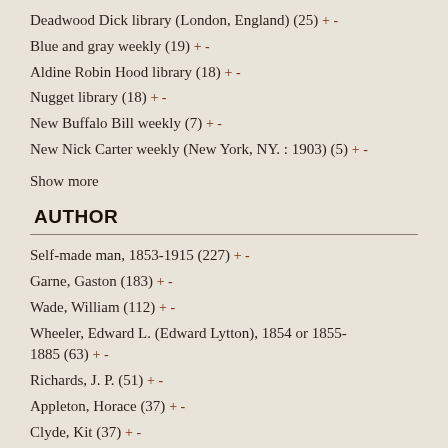Deadwood Dick library (London, England) (25) + -
Blue and gray weekly (19) + -
Aldine Robin Hood library (18) + -
Nugget library (18) + -
New Buffalo Bill weekly (7) + -
New Nick Carter weekly (New York, NY. : 1903) (5) + -
Show more
AUTHOR
Self-made man, 1853-1915 (227) + -
Garne, Gaston (183) + -
Wade, William (112) + -
Wheeler, Edward L. (Edward Lytton), 1854 or 1855-1885 (63) + -
Richards, J. P. (51) + -
Appleton, Horace (37) + -
Clyde, Kit (37) + -
King, Ed (37) + -
Pad, Peter (36) + -
Braddon, Paul (34) + -